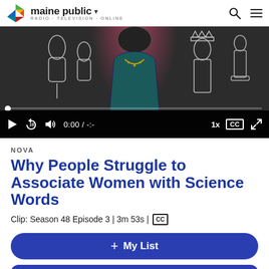maine public RADIO · TELEVISION · ONLINE
[Figure (screenshot): Video player showing a woman in a teal sweater with sketch drawings around her. Controls show play button, rewind 10s, volume, time 0:00 / -:-, speed 1x, CC, and fullscreen buttons.]
NOVA
Why People Struggle to Associate Women with Science Words
Clip: Season 48 Episode 3 | 3m 53s | CC
+ My List